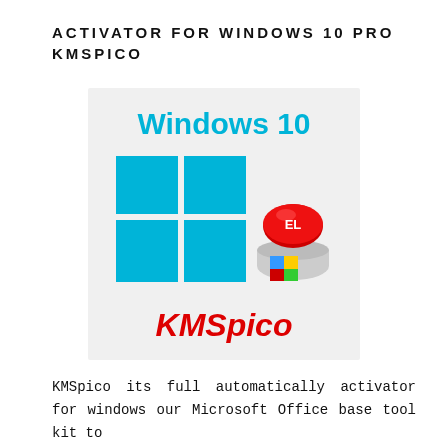ACTIVATOR FOR WINDOWS 10 PRO KMSPICO
[Figure (illustration): Windows 10 and KMSpico logo image on a light grey background. Shows 'Windows 10' text in cyan/blue, a Windows logo (four blue squares), a red button labeled 'EL' on a grey base with Windows shield icon, and 'KMSpico' in bold red italic text below.]
KMSpico its full automatically activator for windows our Microsoft Office base tool kit to